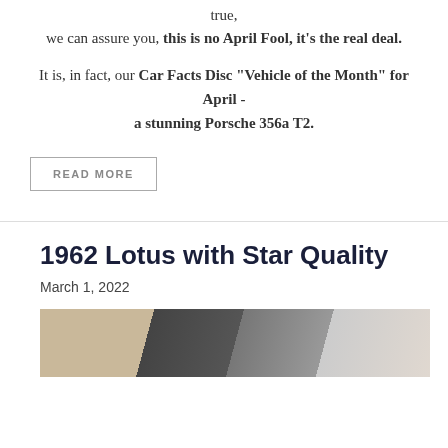true, we can assure you, this is no April Fool, it's the real deal.
It is, in fact, our Car Facts Disc “Vehicle of the Month” for April - a stunning Porsche 356a T2.
READ MORE
1962 Lotus with Star Quality
March 1, 2022
[Figure (photo): Photograph showing a garage or workshop interior with a person visible, shelves and equipment in the background.]